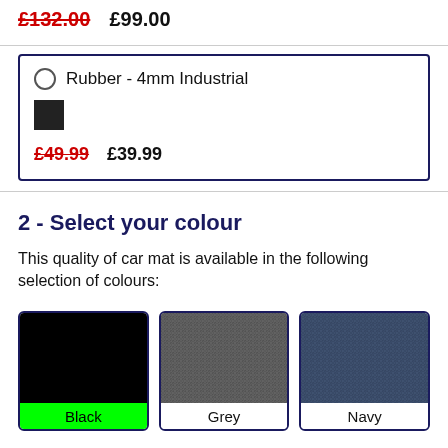£132.00  £99.00
Rubber - 4mm Industrial
£49.99  £39.99
2 - Select your colour
This quality of car mat is available in the following selection of colours:
[Figure (photo): Three colour swatches: Black (solid black with green label), Grey (textured dark grey), Navy (textured dark blue)]